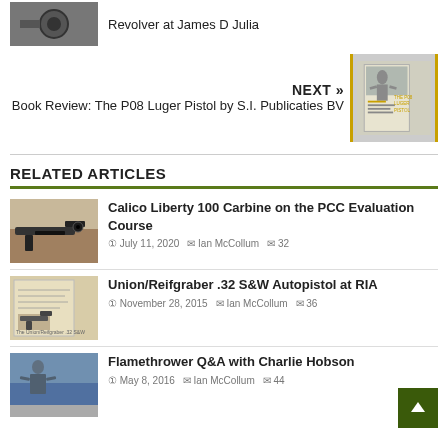[Figure (photo): Thumbnail photo of a revolver]
Revolver at James D Julia
NEXT »
Book Review: The P08 Luger Pistol by S.I. Publicaties BV
[Figure (photo): Thumbnail photo of book cover: The P08 Luger Pistol]
RELATED ARTICLES
[Figure (photo): Thumbnail photo of Calico Liberty 100 Carbine]
Calico Liberty 100 Carbine on the PCC Evaluation Course
July 11, 2020  Ian McCollum  32
[Figure (photo): Thumbnail photo of Union/Reifgraber autopistol]
Union/Reifgraber .32 S&W Autopistol at RIA
November 28, 2015  Ian McCollum  36
[Figure (photo): Thumbnail photo for Flamethrower article]
Flamethrower Q&A with Charlie Hobson
May 8, 2016  Ian McCollum  44